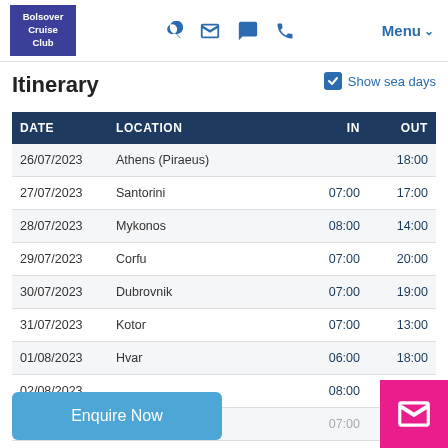Bolsover Cruise Club — Navigation bar with logo, icons, and Menu
Itinerary
Show sea days
| DATE | LOCATION | IN | OUT |
| --- | --- | --- | --- |
| 26/07/2023 | Athens (Piraeus) |  | 18:00 |
| 27/07/2023 | Santorini | 07:00 | 17:00 |
| 28/07/2023 | Mykonos | 08:00 | 14:00 |
| 29/07/2023 | Corfu | 07:00 | 20:00 |
| 30/07/2023 | Dubrovnik | 07:00 | 19:00 |
| 31/07/2023 | Kotor | 07:00 | 13:00 |
| 01/08/2023 | Hvar | 06:00 | 18:00 |
| 02/08/2023 |  | 08:00 |  |
| 03/08/2023 | Venice | 07:00 | 18:30 |
Enquire Now